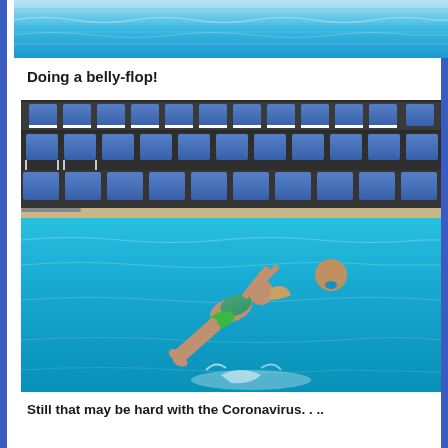[Figure (photo): Top partial photo of a swimming pool with blue water]
Doing a belly-flop!
[Figure (photo): A child in a green and blue swimsuit doing a belly-flop into an outdoor swimming pool, with blue lounge chairs in the background and another swimmer visible in the water]
Still that may be hard with the Coronavirus. . ..